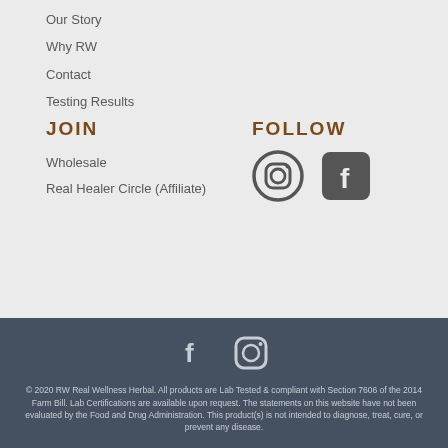Our Story
Why RW
Contact
Testing Results
JOIN
FOLLOW
Wholesale
Real Healer Circle (Affiliate)
[Figure (logo): Instagram icon (dark grey circle with camera outline)]
[Figure (logo): Facebook icon (dark grey square with f letter)]
[Figure (logo): Facebook icon (white/light f on dark footer)]
[Figure (logo): Instagram icon (white/light camera on dark footer)]
© 2020 RW Real Wellness Herbal. All products are Lab Tested & compliant with Section 7606 of the 2014 Farm Bill. Lab Certifications are available upon request. The statements on this website have not been evaluated by the Food and Drug Administration. This product(s) is not intended to diagnose, treat, cure, or prevent any disease.